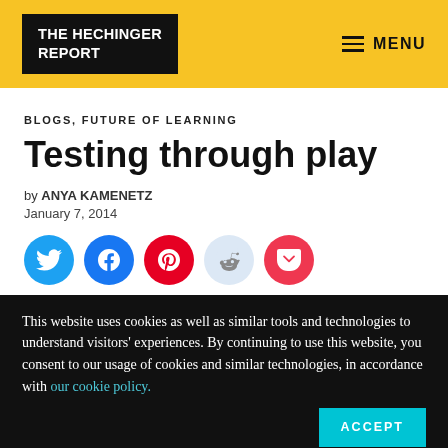THE HECHINGER REPORT | MENU
BLOGS, FUTURE OF LEARNING
Testing through play
by ANYA KAMENETZ
January 7, 2014
[Figure (infographic): Social sharing icons row: Twitter (blue), Facebook (blue), Pinterest (red), Reddit (light blue), Pocket (red)]
This website uses cookies as well as similar tools and technologies to understand visitors' experiences. By continuing to use this website, you consent to our usage of cookies and similar technologies, in accordance with our cookie policy.